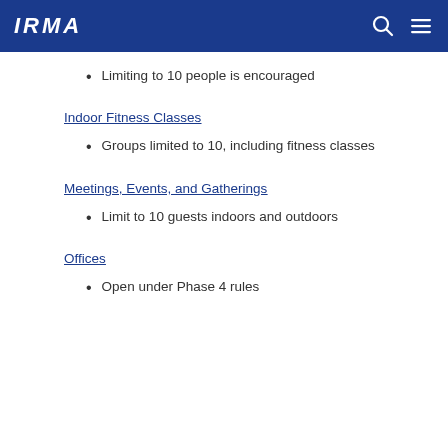IRMA
Limiting to 10 people is encouraged
Indoor Fitness Classes
Groups limited to 10, including fitness classes
Meetings, Events, and Gatherings
Limit to 10 guests indoors and outdoors
Offices
Open under Phase 4 rules